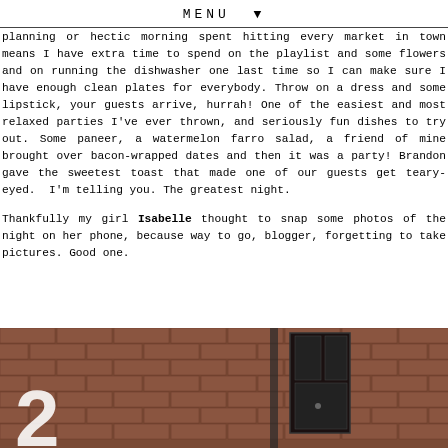MENU ▼
planning or hectic morning spent hitting every market in town means I have extra time to spend on the playlist and some flowers and on running the dishwasher one last time so I can make sure I have enough clean plates for everybody. Throw on a dress and some lipstick, your guests arrive, hurrah! One of the easiest and most relaxed parties I've ever thrown, and seriously fun dishes to try out. Some paneer, a watermelon farro salad, a friend of mine brought over bacon-wrapped dates and then it was a party! Brandon gave the sweetest toast that made one of our guests get teary-eyed. I'm telling you. The greatest night.
Thankfully my girl Isabelle thought to snap some photos of the night on her phone, because way to go, blogger, forgetting to take pictures. Good one.
[Figure (photo): Photo showing a brick wall interior with a dark door and a large white number, likely from a party or restaurant setting.]